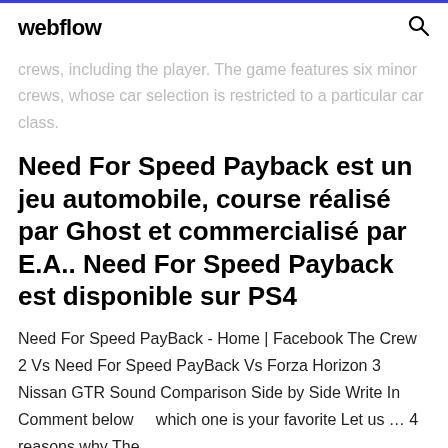webflow
crews, including the player. The game features six minor crews, whose car selection is restricted to a particular car class.
Need For Speed Payback est un jeu automobile, course réalisé par Ghost et commercialisé par E.A.. Need For Speed Payback est disponible sur PS4
Need For Speed PayBack - Home | Facebook The Crew 2 Vs Need For Speed PayBack Vs Forza Horizon 3 Nissan GTR Sound Comparison Side by Side Write In Comment below    which one is your favorite Let us … 4 reasons why The